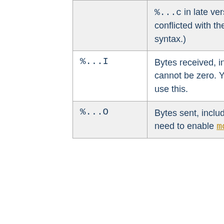| Format | Description |
| --- | --- |
| %...c | %...c in late versions of Apache 1.3, but this conflicted with the historical ssl %...{var}c syntax.) |
| %...I | Bytes received, including request and headers, cannot be zero. You need to enable mod_logio to use this. |
| %...O | Bytes sent, including headers, cannot be zero. You need to enable mod_logio to use this. |
The "..." can be nothing at all (e.g., "%h %u %r %s %b"), or it can indicate conditions for inclusion of the item (which will cause